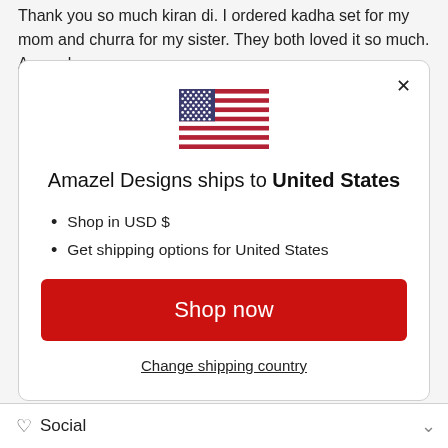Thank you so much kiran di. I ordered kadha set for my mom and churra for my sister. They both loved it so much. Amazel
[Figure (illustration): US flag SVG illustration]
Amazel Designs ships to United States
Shop in USD $
Get shipping options for United States
Shop now
Change shipping country
Social